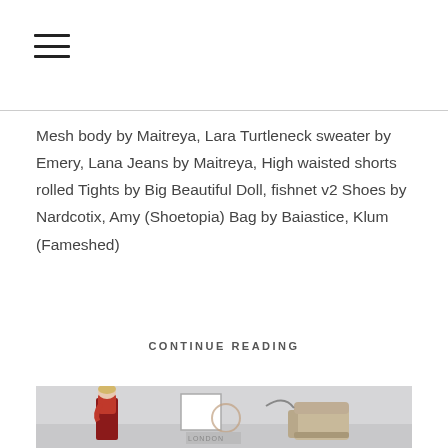≡ (menu icon)
Mesh body by Maitreya, Lara Turtleneck sweater by Emery, Lana Jeans by Maitreya, High waisted shorts rolled Tights by Big Beautiful Doll, fishnet v2 Shoes by Nardcotix, Amy (Shoetopia) Bag by Baiastice, Klum (Fameshed)
CONTINUE READING
[Figure (photo): A 3D avatar/character with short blonde hair wearing a red scarf and red pants, standing in a minimalist interior scene with a framed artwork, decorative circle, and a beige armchair. The background is light grey. A 'LONDON' text/box is visible on the floor.]